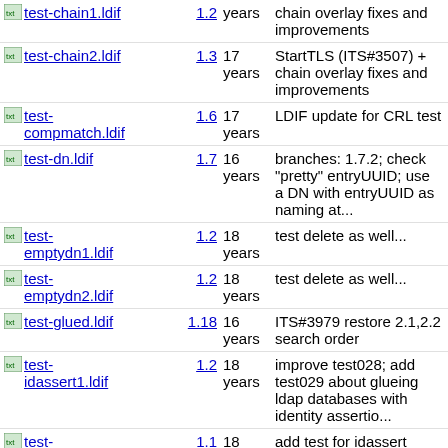[TXT] test-chain1.ldif 1.2 years chain overlay fixes and improvements
[TXT] test-chain2.ldif 1.3 17 years StartTLS (ITS#3507) + chain overlay fixes and improvements
[TXT] test-compmatch.ldif 1.6 17 years LDIF update for CRL test
[TXT] test-dn.ldif 1.7 16 years branches: 1.7.2; check "pretty" entryUUID; use a DN with entryUUID as naming at...
[TXT] test-emptydn1.ldif 1.2 18 years test delete as well...
[TXT] test-emptydn2.ldif 1.2 18 years test delete as well...
[TXT] test-glued.ldif 1.18 16 years ITS#3979 restore 2.1,2.2 search order
[TXT] test-idassert1.ldif 1.2 18 years improve test028; add test029 about glueing ldap databases with identity assertio...
[TXT] test-idassert2.ldif 1.1 18 years add test for idassert
[TXT] test-lang.ldif 1.4 17 years Fix a few LDIF bugs